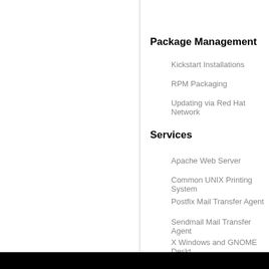Package Management
Kickstart Installations
RPM Packaging
Updating via Red Hat Network
Services
Apache Web Server
Common UNIX Printing System
Postfix Mail Transfer Agent
Sendmail Mail Transfer Agent
X Windows and GNOME Desktop